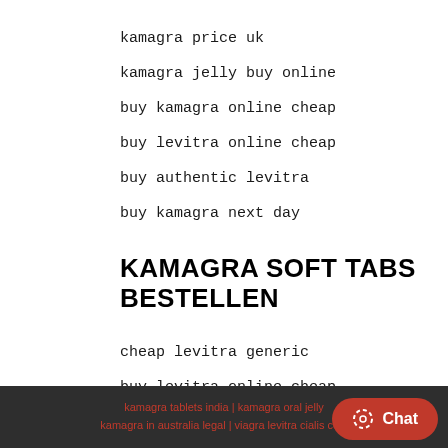kamagra price uk
kamagra jelly buy online
buy kamagra online cheap
buy levitra online cheap
buy authentic levitra
buy kamagra next day
KAMAGRA SOFT TABS BESTELLEN
cheap levitra generic
buy levitra online cheap
kamagra uk eu
kamagra tablets india | kamagra oral jelly | kamagra in australia legal | viagra levitra cialis cost